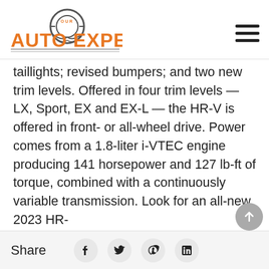Our Auto Expert
taillights; revised bumpers; and two new trim levels. Offered in four trim levels — LX, Sport, EX and EX-L — the HR-V is offered in front- or all-wheel drive. Power comes from a 1.8-liter i-VTEC engine producing 141 horsepower and 127 lb-ft of torque, combined with a continuously variable transmission. Look for an all-new 2023 HR-
Share